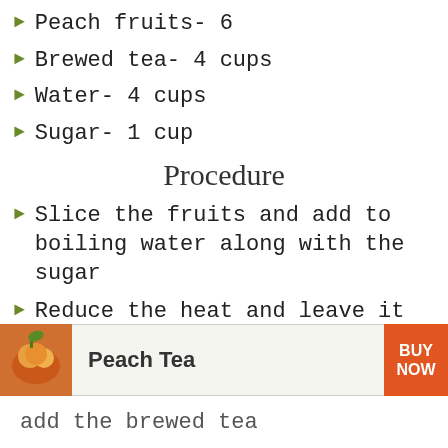Peach fruits- 6
Brewed tea- 4 cups
Water- 4 cups
Sugar- 1 cup
Procedure
Slice the fruits and add to boiling water along with the sugar
Reduce the heat and leave it for 1 hour
Turn off the heat and let the mixture settle for an hour or two
[Figure (infographic): Advertisement banner for Peach Tea with buy now button]
add the brewed tea